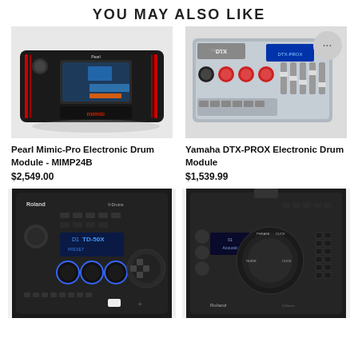YOU MAY ALSO LIKE
[Figure (photo): Pearl Mimic-Pro Electronic Drum Module - black device with touchscreen display]
[Figure (photo): Yamaha DTX-PROX Electronic Drum Module - silver/grey device with knobs and faders, with circular badge showing '...']
Pearl Mimic-Pro Electronic Drum Module - MIMP24B
$2,549.00
Yamaha DTX-PROX Electronic Drum Module
$1,539.99
[Figure (photo): Roland TD-50X V-Drums electronic drum module - black rack unit with display showing 'TD-50X']
[Figure (photo): Roland V-Drums electronic drum module - black unit with large dial and display showing 'Acoustic']